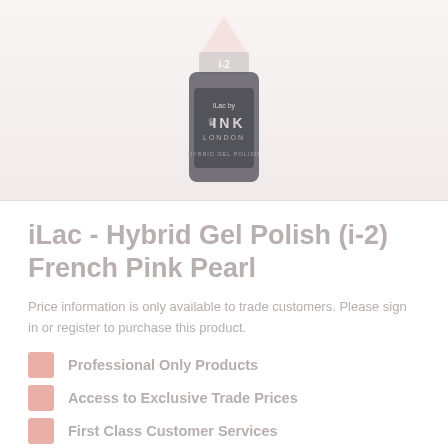[Figure (photo): A dark bottle of iLac by INK London Hybrid Gel Polish in shade i-2 (French Pink Pearl), showing the crown logo and brand name on a light pink/white background.]
iLac - Hybrid Gel Polish (i-2) French Pink Pearl
Price information is only available to trade customers. Please sign in or register to purchase this product.
Professional Only Products
Access to Exclusive Trade Prices
First Class Customer Services